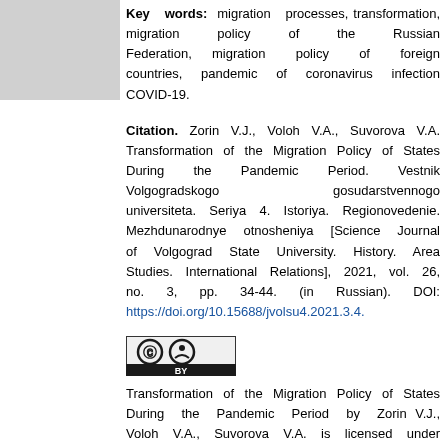[Figure (other): Gray rectangle placeholder image in left column]
Key words: migration processes, transformation, migration policy of the Russian Federation, migration policy of foreign countries, pandemic of coronavirus infection COVID-19.
Citation. Zorin V.J., Voloh V.A., Suvorova V.A. Transformation of the Migration Policy of States During the Pandemic Period. Vestnik Volgogradskogo gosudarstvennogo universiteta. Seriya 4. Istoriya. Regionovedenie. Mezhdunarodnye otnosheniya [Science Journal of Volgograd State University. History. Area Studies. International Relations], 2021, vol. 26, no. 3, pp. 34-44. (in Russian). DOI: https://doi.org/10.15688/jvolsu4.2021.3.4.
[Figure (logo): Creative Commons CC BY license logo]
Transformation of the Migration Policy of States During the Pandemic Period by Zorin V.J., Voloh V.A., Suvorova V.A. is licensed under a Creative Commons Attribution 4.0